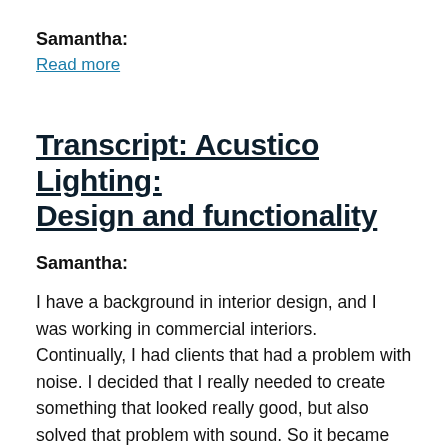Samantha:
Read more
Transcript: Acustico Lighting: Design and functionality
Samantha:
I have a background in interior design, and I was working in commercial interiors. Continually, I had clients that had a problem with noise. I decided that I really needed to create something that looked really good, but also solved that problem with sound. So it became evident to me that it would be a really good idea to suspend the solution. Because it's suspended, the sound waves bounce around a